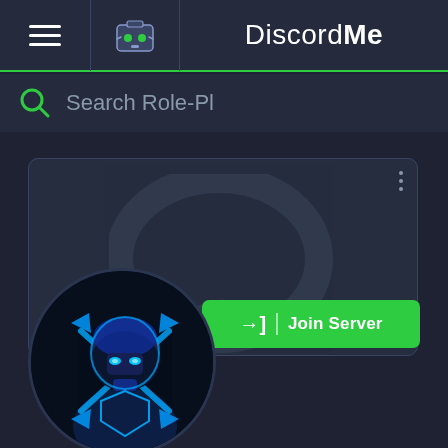[Figure (screenshot): Discord.Me website screenshot showing navigation bar with hamburger menu, bot icon, and DiscordMe logo]
Search Role-Pl
[Figure (screenshot): Discord server card with a dark blue background, chat bubble watermark, and ninja/assassin mascot avatar. Join Server green button visible.]
→| Join Server